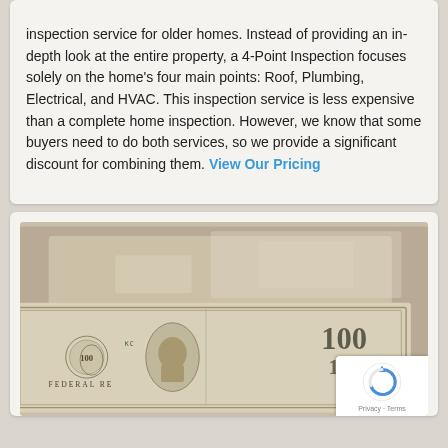inspection service for older homes. Instead of providing an in-depth look at the entire property, a 4-Point Inspection focuses solely on the home's four main points: Roof, Plumbing, Electrical, and HVAC. This inspection service is less expensive than a complete home inspection. However, we know that some buyers need to do both services, so we provide a significant discount for combining them. View Our Pricing
[Figure (photo): Close-up sepia-toned photo of US dollar bills, showing Federal Reserve note text and currency details]